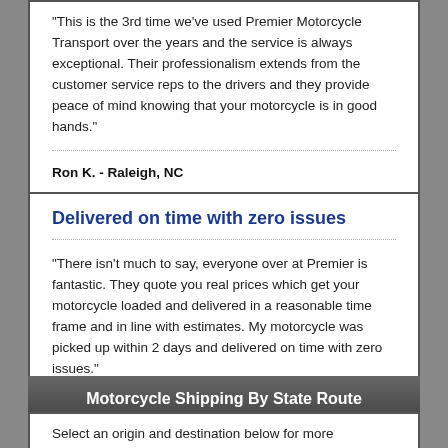"This is the 3rd time we've used Premier Motorcycle Transport over the years and the service is always exceptional. Their professionalism extends from the customer service reps to the drivers and they provide peace of mind knowing that your motorcycle is in good hands."
Ron K. - Raleigh, NC
Delivered on time with zero issues
"There isn't much to say, everyone over at Premier is fantastic. They quote you real prices which get your motorcycle loaded and delivered in a reasonable time frame and in line with estimates. My motorcycle was picked up within 2 days and delivered on time with zero issues."
Joe A. - Seattle, WA
Motorcycle Shipping By State Route
Select an origin and destination below for more information about shipping